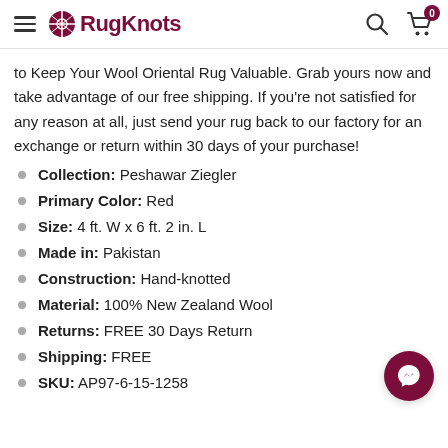RugKnots
to Keep Your Wool Oriental Rug Valuable. Grab yours now and take advantage of our free shipping. If you’re not satisfied for any reason at all, just send your rug back to our factory for an exchange or return within 30 days of your purchase!
Collection: Peshawar Ziegler
Primary Color: Red
Size: 4 ft. W x 6 ft. 2 in. L
Made in: Pakistan
Construction: Hand-knotted
Material: 100% New Zealand Wool
Returns: FREE 30 Days Return
Shipping: FREE
SKU: AP97-6-15-1258